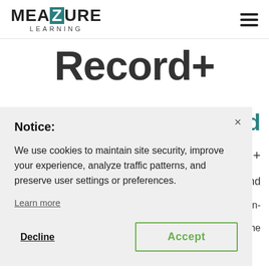[Figure (logo): Meazure Learning logo with teal Z icon and 'LEARNING' subtitle]
Record+
and
+
and
in-
he
integrity of your exam without missing a beat.
Notice:
We use cookies to maintain site security, improve your experience, analyze traffic patterns, and preserve user settings or preferences.
Learn more